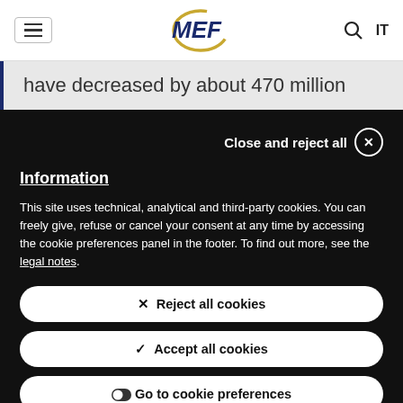MEF — navigation header with hamburger menu, MEF logo, search icon, IT language toggle
have decreased by about 470 million
Close and reject all
Information
This site uses technical, analytical and third-party cookies. You can freely give, refuse or cancel your consent at any time by accessing the cookie preferences panel in the footer. To find out more, see the legal notes.
✕ Reject all cookies
✓ Accept all cookies
Go to cookie preferences